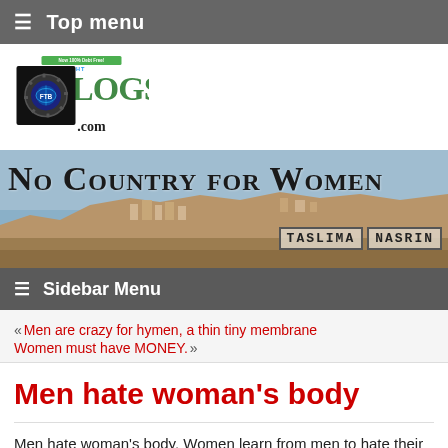≡ Top menu
[Figure (logo): FreeThoughtBlogs.com logo — circular gear/globe icon with FTB initials, colorful text banner reading 'Now 100% Debt Free! FREETHOUGHT BLOGS .com']
[Figure (illustration): No Country for Women blog banner — title in small-caps serif font over a Middle Eastern hillside town landscape, with 'TASLIMA NASRIN' in monospace boxes at bottom right]
≡ Sidebar Menu
« Men are crazy for hymen, a thin tiny membrane    Women must have MONEY. »
Men hate woman's body
Men hate woman's body. Women learn from men to hate their own bodies. Men and media have been busy for centuries